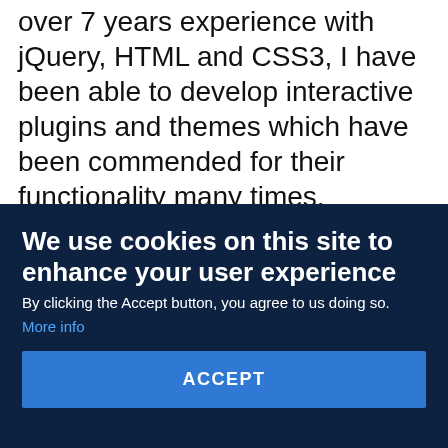over 7 years experience with jQuery, HTML and CSS3, I have been able to develop interactive plugins and themes which have been commended for their functionality many times.
As a team lead in my previous role, I was
We use cookies on this site to enhance your user experience
By clicking the Accept button, you agree to us doing so.
More info
ACCEPT